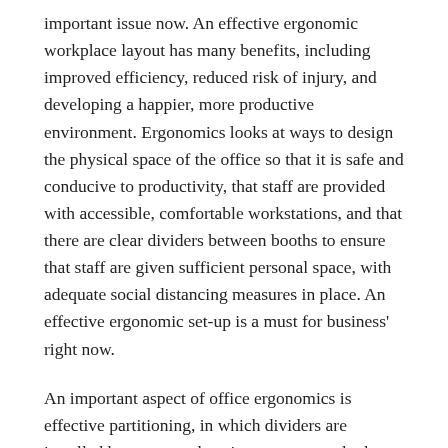important issue now. An effective ergonomic workplace layout has many benefits, including improved efficiency, reduced risk of injury, and developing a happier, more productive environment. Ergonomics looks at ways to design the physical space of the office so that it is safe and conducive to productivity, that staff are provided with accessible, comfortable workstations, and that there are clear dividers between booths to ensure that staff are given sufficient personal space, with adequate social distancing measures in place. An effective ergonomic set-up is a must for business' right now.
An important aspect of office ergonomics is effective partitioning, in which dividers are installed between workstations, rooms, and other assorted areas of the office. An effective partition provides several benefits to business', including improved acoustics, providing staff with a sense of personal space, dividing the office into